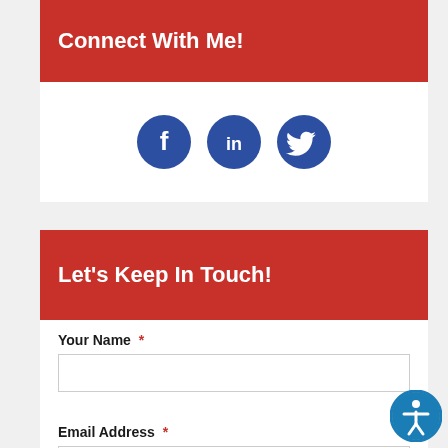Connect With Me!
[Figure (infographic): Three social media icons in dark blue circles: Facebook (f), LinkedIn (in), Twitter (bird)]
Let’s Keep In Touch!
Your Name *
Email Address *